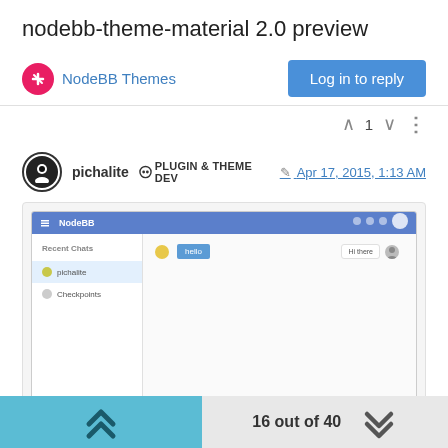nodebb-theme-material 2.0 preview
NodeBB Themes
Log in to reply
pichalite  PLUGIN & THEME DEV   Apr 17, 2015, 1:13 AM
[Figure (screenshot): Screenshot of NodeBB material theme showing a chat interface with blue header bar, sidebar with conversation list, and main chat area]
16 out of 40